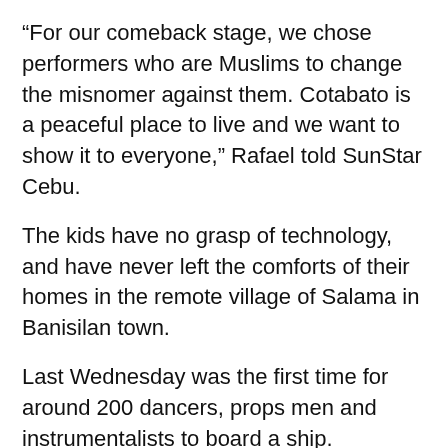“For our comeback stage, we chose performers who are Muslims to change the misnomer against them. Cotabato is a peaceful place to live and we want to show it to everyone,” Rafael told SunStar Cebu.
The kids have no grasp of technology, and have never left the comforts of their homes in the remote village of Salama in Banisilan town.
Last Wednesday was the first time for around 200 dancers, props men and instrumentalists to board a ship.
Despite this being the first time for them to leave their homes, there were no telltale signs of fear on the faces of the kids.
The mirth in their eyes was as clear as the sea they crossed, their smiles as wide as the horizons separating the islands of Visayas and Mindanao.
“M...